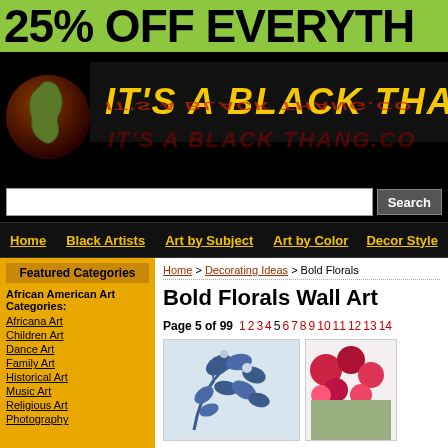25% OFF EVERYTH
[Figure (logo): It's A Black Thang.com website header logo on black background with Africa map icon and flame-style yellow text]
[Figure (screenshot): Search bar with Search button on black background]
Home | Black Artists | Art by Subject | Art by Color | Decor Styles
Featured Categories
African American Art Categories:
Africana Art
Children Art
Dance Art
Family Art
Historical Art
Music Art
Religious Art
Photography
Home > Decorating Ideas > Bold Florals
Bold Florals Wall Art
Page 5 of 99  1 2 3 4 5 6 7 8 9 10 11 12 13 14
[Figure (photo): Blue floral botanical painting - large blue leaves and flowers]
[Figure (photo): Colorful tulips/flowers photo partially visible at right edge]